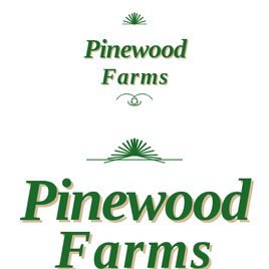[Figure (logo): Pinewood Farms logo (small version) with decorative sunburst/starburst above the text, serif display lettering in dark green with cream/gold shadow, and ornamental swash flourish below. Text reads 'Pinewood Farms'.]
[Figure (logo): Pinewood Farms logo (large/cropped version) with larger decorative sunburst above, large serif display lettering in dark green with cream/gold shadow. Text reads 'Pinewood Farms' — larger scale, partially cropped at bottom.]